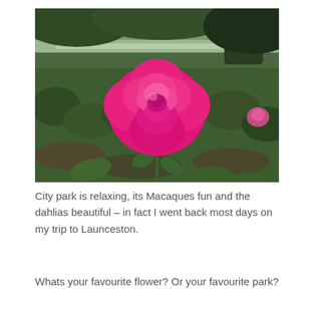[Figure (photo): A vibrant hot-pink rose in full bloom in the foreground, with a garden bed of rose bushes and green foliage in the background, and trees visible in the upper portion of the image. The setting appears to be a city park.]
City park is relaxing, its Macaques fun and the dahlias beautiful – in fact I went back most days on my trip to Launceston.
Whats your favourite flower? Or your favourite park?